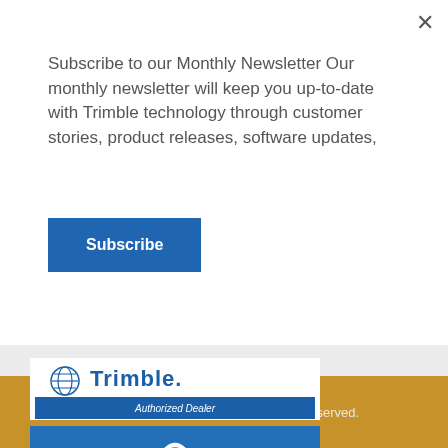Subscribe to our Monthly Newsletter Our monthly newsletter will keep you up-to-date with Trimble technology through customer stories, product releases, software updates,
Subscribe
[Figure (logo): Trimble Authorized Dealer logo — blue and white with globe icon]
[Figure (logo): Rajant logo — white text on blue background with wireless signal icon]
[Figure (logo): Datumate Geomatics Expert Systems logo — yellow satellite dish icon with grey text]
© 2018 SITECH Solutions. All rights reserved.